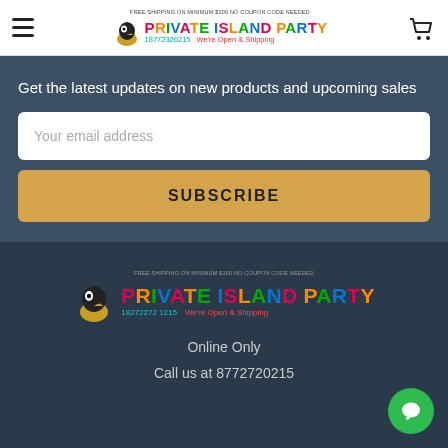FREE SHIPPING ON MINIMUM $100 NO COUPON CODE NEEDED | PRIVATE ISLAND PARTY | 18772720215 | We're Open & Shipping
Get the latest updates on new products and upcoming sales
Your email address
SUBSCRIBE
[Figure (logo): Private Island Party logo in footer with tagline FREE SHIPPING ON MINIMUM $100 NO COUPON CODE NEEDED, phone 18772720215, We're Open & Shipping]
Online Only
Call us at 8772720215